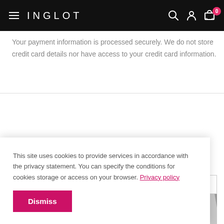INGLOT
Your payment information is processed securely. We do not store credit card details nor have access to your credit card information.
WORKS WELL WITH
[Figure (screenshot): Product row with two product boxes, partially visible product images below including INGLOT EVENING product]
This site uses cookies to provide services in accordance with the privacy statement. You can specify the conditions for cookies storage or access on your browser. Privacy policy